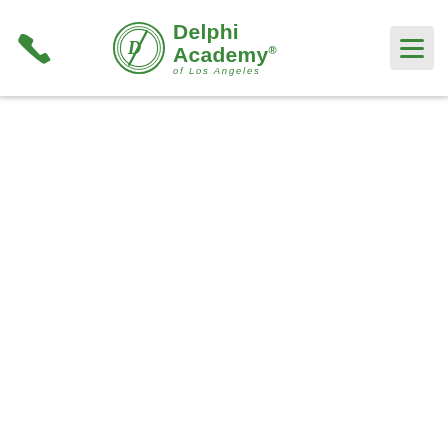Delphi Academy of Los Angeles — navigation header with phone icon and menu button
[Figure (logo): Delphi Academy of Los Angeles logo: circular green emblem on the left, bold green text 'Delphi Academy®' with smaller italic text 'of Los Angeles' below]